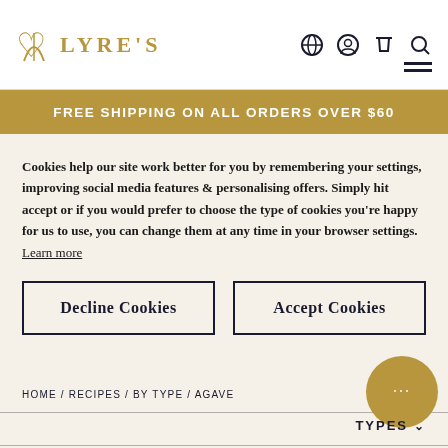LYRE'S
FREE SHIPPING ON ALL ORDERS OVER $60
Cookies help our site work better for you by remembering your settings, improving social media features & personalising offers. Simply hit accept or if you would prefer to choose the type of cookies you're happy for us to use, you can change them at any time in your browser settings. Learn more
Decline Cookies
Accept Cookies
HOME / RECIPES / BY TYPE / AGAVE
TYPES